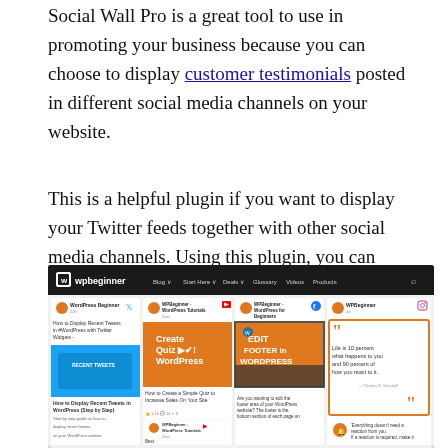Social Wall Pro is a great tool to use in promoting your business because you can choose to display customer testimonials posted in different social media channels on your website.
This is a helpful plugin if you want to display your Twitter feeds together with other social media channels. Using this plugin, you can display as many feeds as you'd like, either on the same page or throughout your website.
[Figure (screenshot): Screenshot of wpbeginner.com website showing a social wall with multiple social media feed cards including Twitter, YouTube, and Facebook posts displayed side by side in a dark-themed navigation bar layout.]